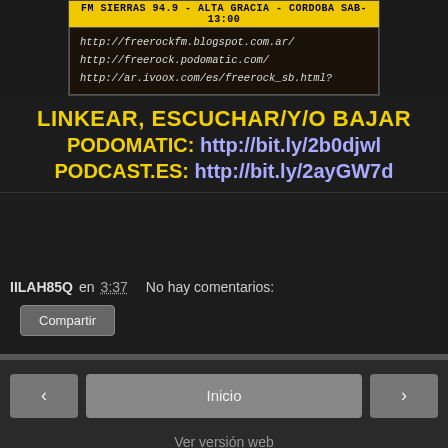[Figure (screenshot): FM Sierras 94.9 radio banner with yellow header bar reading 'FM SIERRAS 94.9 - ALTA GRACIA - CORDOBA SAB- 13:00' and links on dark background]
LINKEAR, ESCUCHAR/Y/O BAJAR PODOMATIC: http://bit.ly/2b0djwl PODCAST.ES: http://bit.ly/2ayGW7d
IILAH85Q en 3:37    No hay comentarios:
Compartir
‹   Inicio   ›
Ver versión web
Con la tecnología de Blogger.